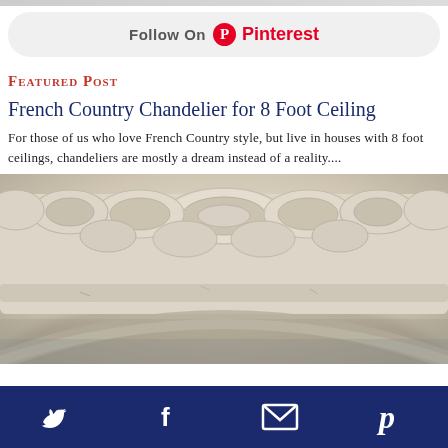[Figure (screenshot): Pinterest Follow On button with Pinterest logo and text]
Featured Post
French Country Chandelier for 8 Foot Ceiling
For those of us who love French Country style, but live in houses with 8 foot ceilings, chandeliers are mostly a dream instead of a reality....
[Figure (photo): Close-up photo of a white ornate French country style decorative frame or molding with floral scroll details, slightly distressed paint finish]
Twitter, Facebook, Email, Pinterest social media icons